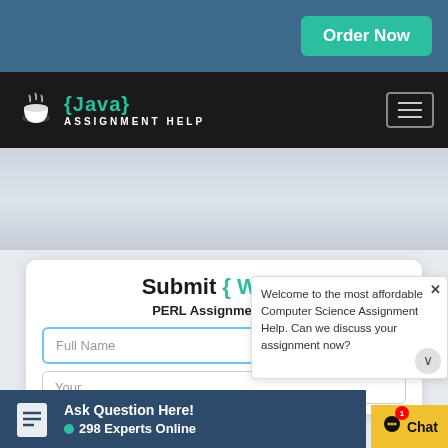[Figure (screenshot): Order Now button on teal/blue background top bar]
[Figure (logo): Java Assignment Help logo with coffee cup icon on black navigation bar]
[Figure (screenshot): Gray hero/banner area below navigation]
Submit { Work }
PERL Assignment Help
Full Name
Your
Welcome to the most affordable Computer Science Assignment Help. Can we discuss your assignment now?
Ask Question Here! 298 Experts Online